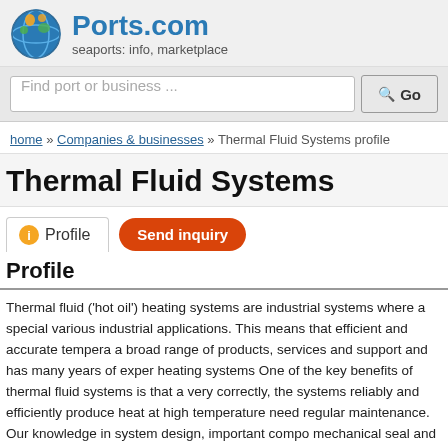Ports.com — seaports: info, marketplace
Find port or business ...
home » Companies & businesses » Thermal Fluid Systems profile
Thermal Fluid Systems
Profile
Thermal fluid ('hot oil') heating systems are industrial systems where a special various industrial applications. This means that efficient and accurate tempera a broad range of products, services and support and has many years of exper heating systems One of the key benefits of thermal fluid systems is that a very correctly, the systems reliably and efficiently produce heat at high temperature need regular maintenance. Our knowledge in system design, important compo mechanical seal and bellows-sealed isolation and control valves ensure low m efficiency and no danger of damage from freezing when the plant is shut down fluid heating systems in a wide range of offshore applications such as edible o